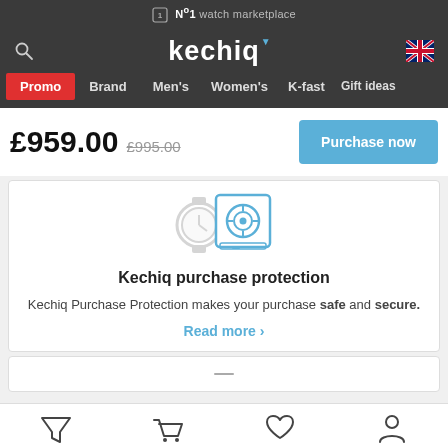№1 watch marketplace
kechiq
Promo  Brand  Men's  Women's  K-fast  Gift ideas
£959.00  £995.00
Purchase now
[Figure (illustration): Icons of a watch and a safe representing purchase protection]
Kechiq purchase protection
Kechiq Purchase Protection makes your purchase safe and secure.
Read more ›